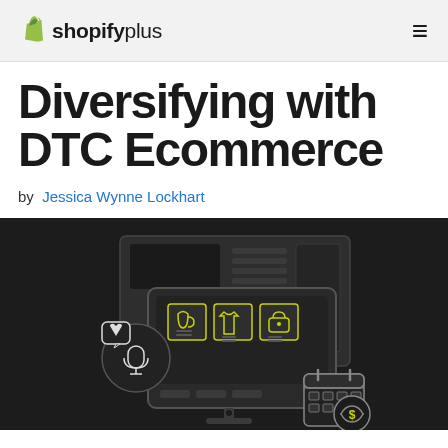shopifyplus
Diversifying with DTC Ecommerce
by Jessica Wynne Lockhart
[Figure (illustration): Dark background illustration showing a desktop computer monitor with ecommerce product icons (mug, t-shirt, lock/bag) displayed on screen, along with a microphone icon in a circle with a heart bubble, and a calendar with a dollar coin icon. Behind the monitor is a larger dark interface/server graphic. Yellow-green outline style icons on dark charcoal background.]